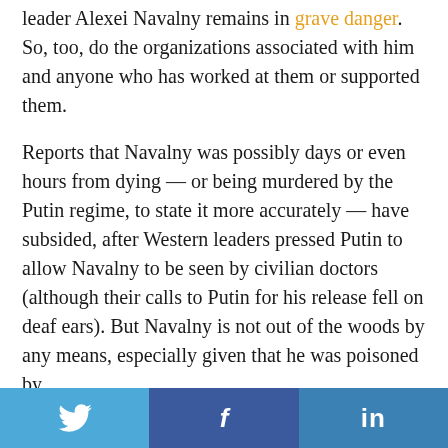leader Alexei Navalny remains in grave danger. So, too, do the organizations associated with him and anyone who has worked at them or supported them.
Reports that Navalny was possibly days or even hours from dying — or being murdered by the Putin regime, to state it more accurately — have subsided, after Western leaders pressed Putin to allow Navalny to be seen by civilian doctors (although their calls to Putin for his release fell on deaf ears). But Navalny is not out of the woods by any means, especially given that he was poisoned by
[Figure (other): Social media sharing bar with Twitter, Facebook, and LinkedIn buttons]